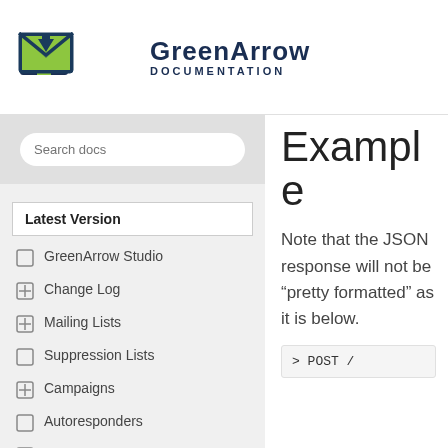GreenArrow DOCUMENTATION
Search docs
Latest Version
GreenArrow Studio
Change Log
Mailing Lists
Suppression Lists
Campaigns
Autoresponders
Content Replacement Codes
Supported Browsers
Example
Note that the JSON response will not be “pretty formatted” as it is below.
> POST /